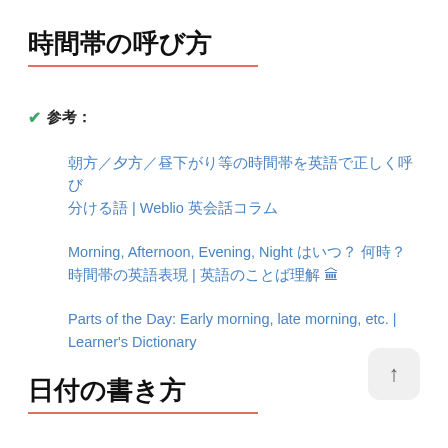時間帯の呼び方
✔ 参考：
朝方／夕方／昼下がり等の時間帯を英語で正しく呼び分ける語 | Weblio 英会話コラム
Morning, Afternoon, Evening, Night はいつ？ 何時？ 時間帯の英語表現 | 英語のことば理解 🏛
Parts of the Day: Early morning, late morning, etc. | Learner's Dictionary
日付の書き方